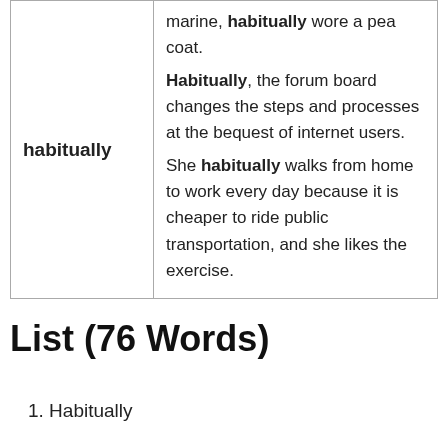| term | examples |
| --- | --- |
| habitually | marine, habitually wore a pea coat.
Habitually, the forum board changes the steps and processes at the bequest of internet users.
She habitually walks from home to work every day because it is cheaper to ride public transportation, and she likes the exercise. |
List (76 Words)
Habitually